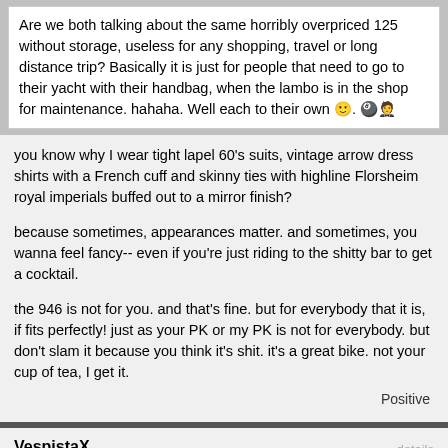Are we both talking about the same horribly overpriced 125 without storage, useless for any shopping, travel or long distance trip? Basically it is just for people that need to go to their yacht with their handbag, when the lambo is in the shop for maintenance. hahaha. Well each to their own 🙂. 🎱🎱
you know why I wear tight lapel 60's suits, vintage arrow dress shirts with a French cuff and skinny ties with highline Florsheim royal imperials buffed out to a mirror finish?
because sometimes, appearances matter. and sometimes, you wanna feel fancy-- even if you're just riding to the shitty bar to get a cocktail.
the 946 is not for you. and that's fine. but for everybody that it is, if fits perfectly! just as your PK or my PK is not for everybody. but don't slam it because you think it's shit. it's a great bike. not your cup of tea, I get it.
Positive
VespistaX
Wed Jun 01, 2022 10:49 am